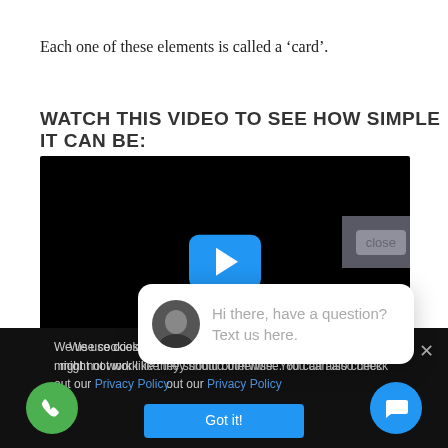Each one of these elements is called a ‘card’.
WATCH THIS VIDEO TO SEE HOW SIMPLE IT CAN BE:
[Figure (screenshot): Video player showing a black screen with a blue play button in the center and a close button overlay. Bottom bar shows playback controls. A chat popup is visible overlapping the video and below: 'Hi there, have a question? Text us here.' A cookie consent bar is at the bottom with a 'Got it!' button. Green phone call button bottom-left, blue chat button bottom-right.]
We use cookies to improve your user experience. Cookies might not work like they should otherwise. You can also check out our Privacy Policy
Got it!